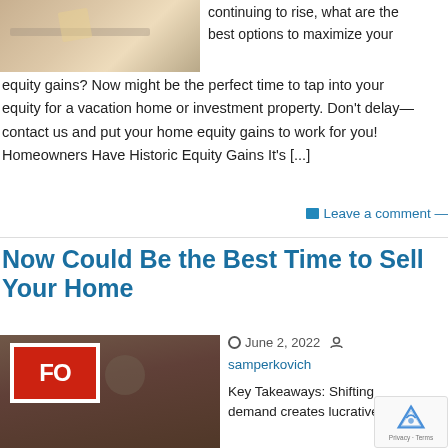[Figure (photo): Person in yellow gloves working on a surface, partial view at top left]
continuing to rise, what are the best options to maximize your equity gains? Now might be the perfect time to tap into your equity for a vacation home or investment property. Don't delay—contact us and put your home equity gains to work for you! Homeowners Have Historic Equity Gains It's [...]
Leave a comment
Now Could Be the Best Time to Sell Your Home
[Figure (photo): Person handing keys next to a red For Sale sign]
June 2, 2022
samperkovich
Key Takeaways: Shifting demand creates lucrative